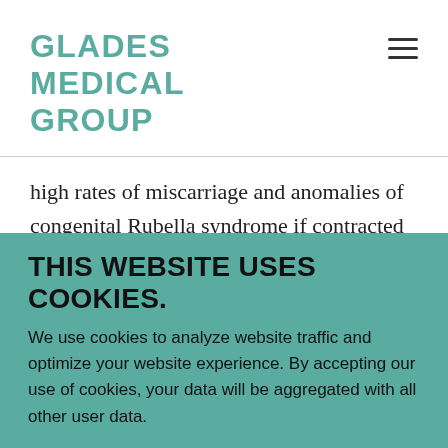GLADES MEDICAL GROUP
high rates of miscarriage and anomalies of congenital Rubella syndrome if contracted in the first trimester of pregnancy.
Source: CDC Vaccine Information Statement (VIS): MMR Vaccine (3/13/08) 42 U.S.C. §300aa-
THIS WEBSITE USES COOKIES.
We use cookies to analyze website traffic and optimize your website experience. By accepting our use of cookies, your data will be aggregated with all other user data.